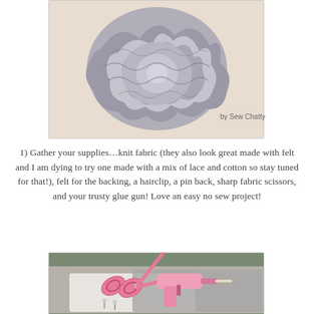[Figure (photo): A fabric flower/rosette made from grey knit fabric, ruffled and rounded, on a light beige background. Text overlay reads 'by Sew Chatty' in bottom right corner.]
1) Gather your supplies…knit fabric (they also look great made with felt and I am dying to try one made with a mix of lace and cotton so stay tuned for that!), felt for the backing, a hairclip, a pin back, sharp fabric scissors, and your trusty glue gun! Love an easy no sew project!
[Figure (photo): Craft supplies laid out: pink fabric scissors and a pink glue gun on top of folded grey and white fabric, with a pin visible.]